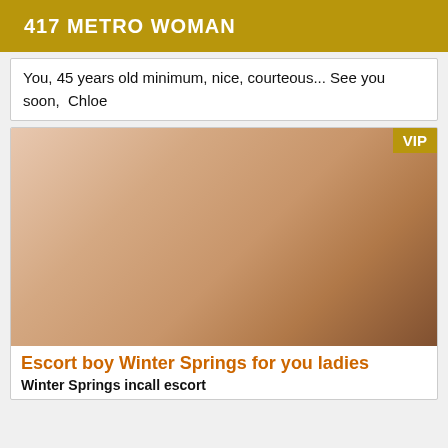417 METRO WOMAN
You, 45 years old minimum, nice, courteous... See you soon,  Chloe
[Figure (photo): Photo with VIP badge in corner]
Escort boy Winter Springs for you ladies
Winter Springs incall escort